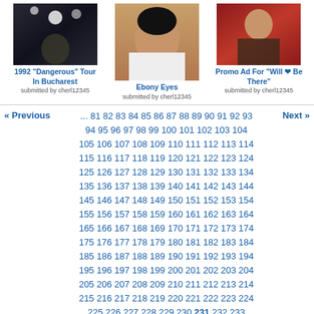[Figure (photo): Photo of 1992 Dangerous Tour In Bucharest – performer on stage with bright lights]
1992 "Dangerous" Tour In Bucharest
submitted by cherl12345
[Figure (photo): Close-up portrait photo titled Ebony Eyes]
Ebony Eyes
submitted by cherl12345
[Figure (photo): Promo Ad For 'Will ❤ Be There' – person in striped jacket against red background]
Promo Ad For "Will ❤ Be There"
submitted by cherl12345
« Previous  ... 81 82 83 84 85 86 87 88 89 90 91 92 93 94 95 96 97 98 99 100 101 102 103 104 105 106 107 108 109 110 111 112 113 114 115 116 117 118 119 120 121 122 123 124 125 126 127 128 129 130 131 132 133 134 135 136 137 138 139 140 141 142 143 144 145 146 147 148 149 150 151 152 153 154 155 156 157 158 159 160 161 162 163 164 165 166 167 168 169 170 171 172 173 174 175 176 177 178 179 180 181 182 183 184 185 186 187 188 189 190 191 192 193 194 195 196 197 198 199 200 201 202 203 204 205 206 207 208 209 210 211 212 213 214 215 216 217 218 219 220 221 222 223 224 225 226 227 228 229 230 231 232 233 234 235 236 237 238 239 240 241 242  Next »